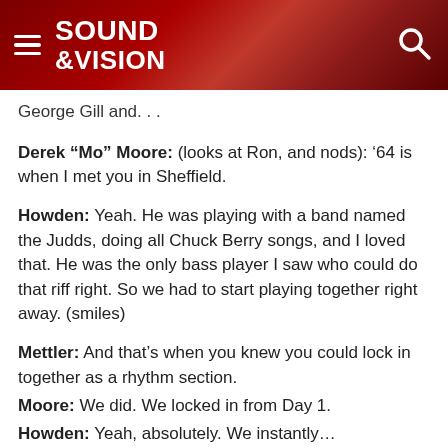SOUND &VISION
George Gill and. . .
Derek “Mo” Moore: (looks at Ron, and nods): ‘64 is when I met you in Sheffield.
Howden: Yeah. He was playing with a band named the Judds, doing all Chuck Berry songs, and I loved that. He was the only bass player I saw who could do that riff right. So we had to start playing together right away. (smiles)
Mettler: And that’s when you knew you could lock in together as a rhythm section.
Moore: We did. We locked in from Day 1.
Howden: Yeah, absolutely. We instantly…